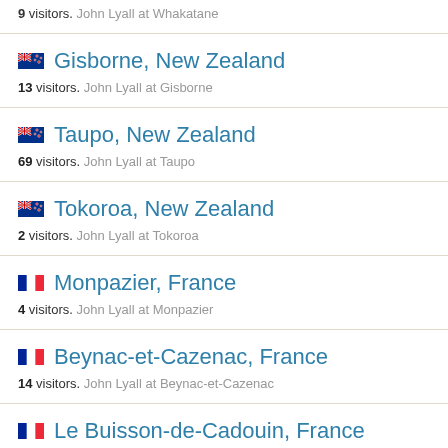9 visitors. John Lyall at Whakatane
Gisborne, New Zealand
13 visitors. John Lyall at Gisborne
Taupo, New Zealand
69 visitors. John Lyall at Taupo
Tokoroa, New Zealand
2 visitors. John Lyall at Tokoroa
Monpazier, France
4 visitors. John Lyall at Monpazier
Beynac-et-Cazenac, France
14 visitors. John Lyall at Beynac-et-Cazenac
Le Buisson-de-Cadouin, France